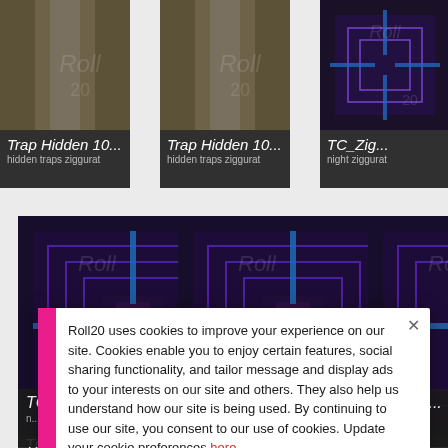[Figure (screenshot): Grid of game map thumbnails on Roll20 marketplace. Row 1: 'Trap Hidden 10...' (hidden traps ziggurat), 'Trap Hidden 10...' (hidden traps ziggurat), 'TC_Zigg...' (night ziggurat). Row 2: 'TC_Ziggurat of ...' x3 (night ziggurat maps). Row 3: 'TC_Ziggurat of ...' x3 (partial, cut off).]
Roll20 uses cookies to improve your experience on our site. Cookies enable you to enjoy certain features, social sharing functionality, and tailor message and display ads to your interests on our site and others. They also help us understand how our site is being used. By continuing to use our site, you consent to our use of cookies. Update your cookie preferences here.